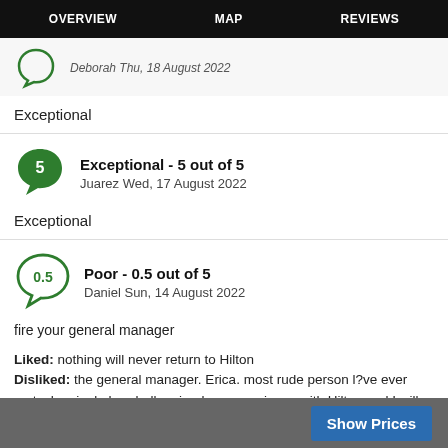OVERVIEW   MAP   REVIEWS
Deborah Thu, 18 August 2022
Exceptional
Exceptional - 5 out of 5
Juarez Wed, 17 August 2022
Exceptional
Poor - 0.5 out of 5
Daniel Sun, 14 August 2022
fire your general manager
Liked: nothing will never return to Hilton
Disliked: the general manager. Erica. most rude person l?ve ever met. she single handedly ruined my experience with Hilton and I will never return